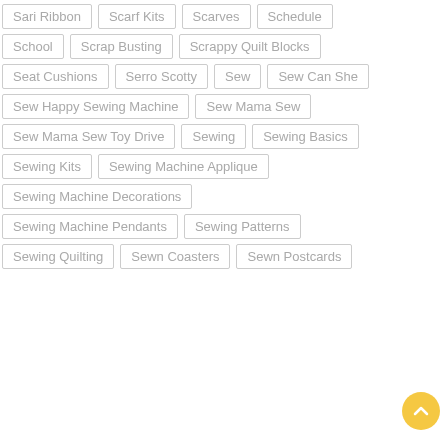Sari Ribbon
Scarf Kits
Scarves
Schedule
School
Scrap Busting
Scrappy Quilt Blocks
Seat Cushions
Serro Scotty
Sew
Sew Can She
Sew Happy Sewing Machine
Sew Mama Sew
Sew Mama Sew Toy Drive
Sewing
Sewing Basics
Sewing Kits
Sewing Machine Applique
Sewing Machine Decorations
Sewing Machine Pendants
Sewing Patterns
Sewing Quilting
Sewn Coasters
Sewn Postcards